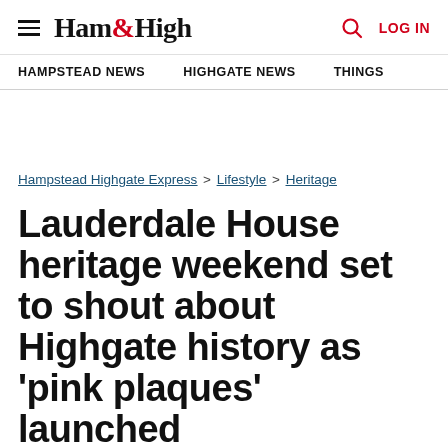Ham&High — HAMPSTEAD NEWS | HIGHGATE NEWS | THINGS | LOG IN
Hampstead Highgate Express > Lifestyle > Heritage
Lauderdale House heritage weekend set to shout about Highgate history as 'pink plaques' launched
Harry Taylor